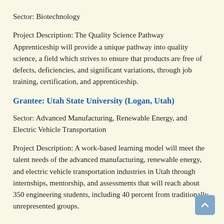Sector: Biotechnology
Project Description: The Quality Science Pathway Apprenticeship will provide a unique pathway into quality science, a field which strives to ensure that products are free of defects, deficiencies, and significant variations, through job training, certification, and apprenticeship.
Grantee: Utah State University (Logan, Utah)
Sector: Advanced Manufacturing, Renewable Energy, and Electric Vehicle Transportation
Project Description: A work-based learning model will meet the talent needs of the advanced manufacturing, renewable energy, and electric vehicle transportation industries in Utah through internships, mentorship, and assessments that will reach about 350 engineering students, including 40 percent from traditionally unrepresented groups.